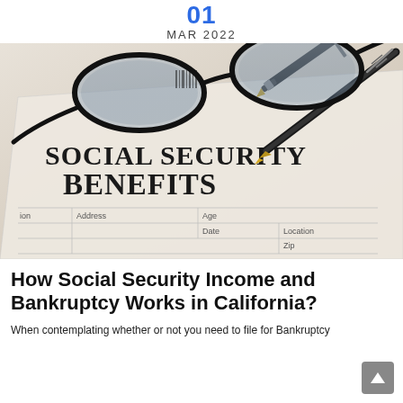01 MAR 2022
[Figure (photo): Photo of a Social Security Benefits form with glasses and a fountain pen resting on top of it. The form shows fields for Address, Age, Date, Location, and Zip.]
How Social Security Income and Bankruptcy Works in California?
When contemplating whether or not you need to file for Bankruptcy